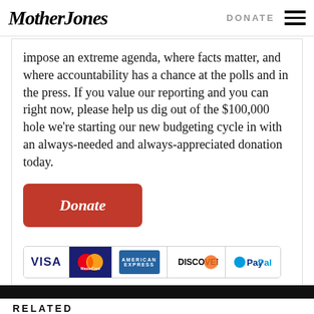Mother Jones | DONATE
impose an extreme agenda, where facts matter, and where accountability has a chance at the polls and in the press. If you value our reporting and you can right now, please help us dig out of the $100,000 hole we're starting our new budgeting cycle in with an always-needed and always-appreciated donation today.
[Figure (other): Orange Donate button followed by payment method logos: Visa, MasterCard, American Express, Discover, PayPal]
RELATED